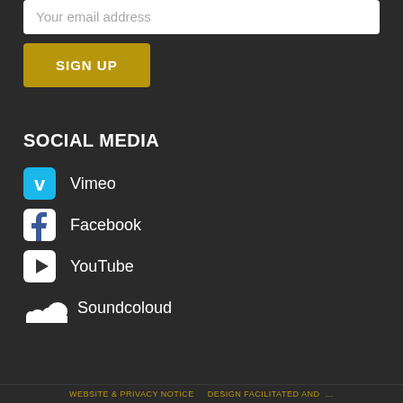Your email address
SIGN UP
SOCIAL MEDIA
Vimeo
Facebook
YouTube
Soundcoloud
WEBSITE & PRIVACY NOTICE   DESIGN FACILITATED AND …